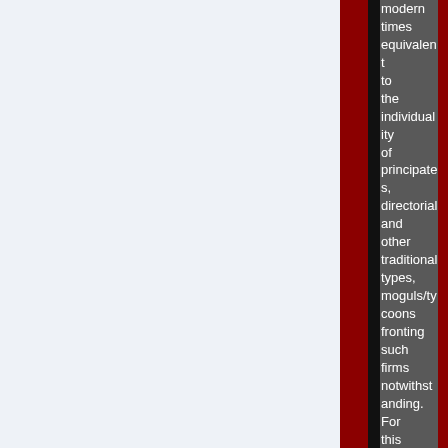modern times equivalent to the individuality of principates, directorial and other traditional types, moguls/tycoons fronting such firms notwithstanding. For this reason, and by my